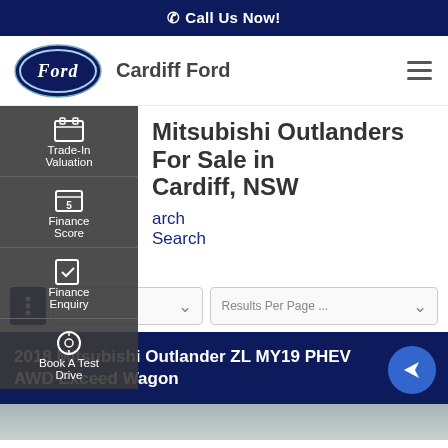Call Us Now!
[Figure (logo): Ford oval logo in blue and white]
Cardiff Ford
Mitsubishi Outlanders For Sale in Cardiff, NSW
Trade-In Valuation
Finance Score
Finance Enquiry
Book A Test Drive
Search
Search
Results Per Page ...
2018 Mitsubishi Outlander ZL MY19 PHEV AWD Exceed Wagon